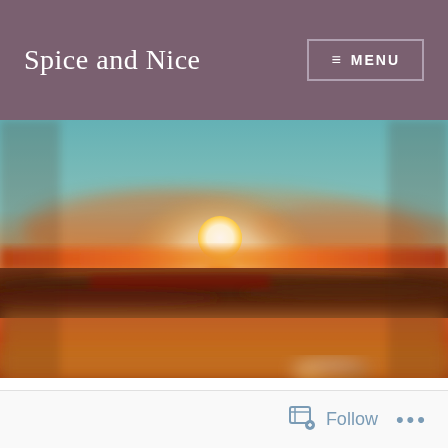Spice and Nice
[Figure (photo): Blurred sunset over ocean/beach with a warm orange and teal sky, sun near horizon, blurred foreground object (bottle/jar) at bottom]
Follow ...